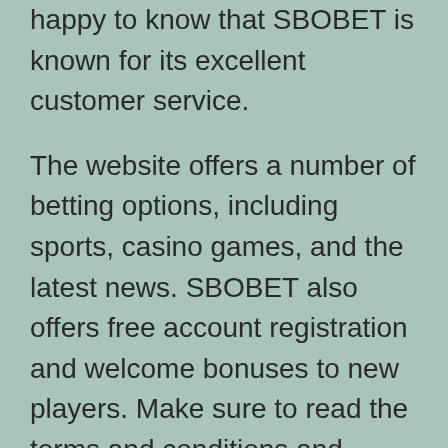happy to know that SBOBET is known for its excellent customer service.
The website offers a number of betting options, including sports, casino games, and the latest news. SBOBET also offers free account registration and welcome bonuses to new players. Make sure to read the terms and conditions and bonus details before depositing any money. However, you can also try your luck at games that you’re familiar with and practice your skills before you invest too much money. SBOBET is a good place to start playing online!